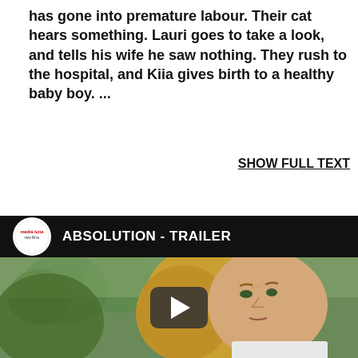has gone into premature labour. Their cat hears something. Lauri goes to take a look, and tells his wife he saw nothing. They rush to the hospital, and Kiia gives birth to a healthy baby boy. ...
SHOW FULL TEXT
[Figure (screenshot): YouTube-style video embed showing ABSOLUTION - TRAILER with media luna films channel logo and a blonde woman's face as thumbnail with a play button overlay]